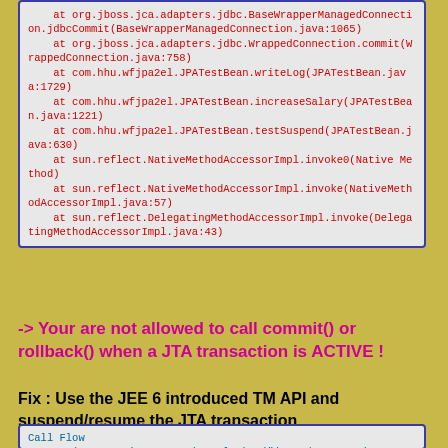at org.jboss.jca.adapters.jdbc.BaseWrapperManagedConnection.jdbcCommit(BaseWrapperManagedConnection.java:1065)
    at org.jboss.jca.adapters.jdbc.WrappedConnection.commit(WrappedConnection.java:758)
    at com.hhu.wfjpa2el.JPATestBean.writeLog(JPATestBean.java:1729)
    at com.hhu.wfjpa2el.JPATestBean.increaseSalary(JPATestBean.java:1221)
    at com.hhu.wfjpa2el.JPATestBean.testSuspend(JPATestBean.java:630)
    at sun.reflect.NativeMethodAccessorImpl.invoke0(Native Method)
    at sun.reflect.NativeMethodAccessorImpl.invoke(NativeMethodAccessorImpl.java:57)
    at sun.reflect.DelegatingMethodAccessorImpl.invoke(DelegatingMethodAccessorImpl.java:43)
-> Your are not allowed to call commit() or rollback() when a JTA transaction is ACTIVE !
Fix : Use the JEE 6 introduced TM API and suspend/resume the JTA transaction
Call Flow
tm = (TransactionManager)ctx.lookup("java:/TransactionManage